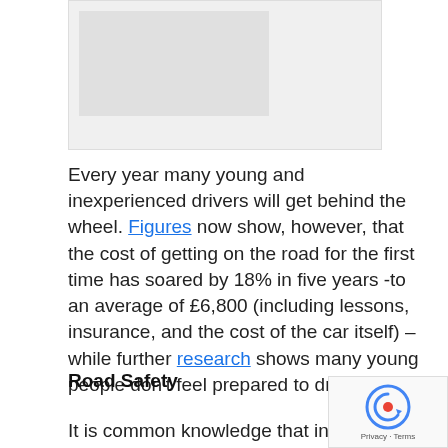[Figure (photo): A partially visible image placeholder at the top of the page, with a lighter inner rectangle suggesting a photo (likely a car or young driver scene).]
Every year many young and inexperienced drivers will get behind the wheel. Figures now show, however, that the cost of getting on the road for the first time has soared by 18% in five years -to an average of £6,800 (including lessons, insurance, and the cost of the car itself) – while further research shows many young people don't feel prepared to drive at all.
Road Safety
It is common knowledge that insurance premi...